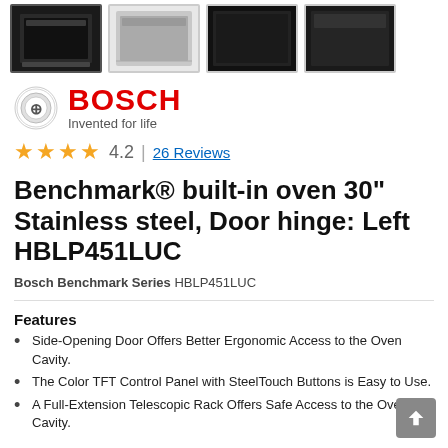[Figure (photo): Four product thumbnail images showing a Bosch built-in oven from different angles. The first thumbnail is selected (highlighted border). Images show stainless steel oven with dark interior.]
[Figure (logo): Bosch brand logo circle icon with 'BOSCH' in bold red text and tagline 'Invented for life' below]
4.2 | 26 Reviews
Benchmark® built-in oven 30" Stainless steel, Door hinge: Left HBLP451LUC
Bosch Benchmark Series HBLP451LUC
Features
Side-Opening Door Offers Better Ergonomic Access to the Oven Cavity.
The Color TFT Control Panel with SteelTouch Buttons is Easy to Use.
A Full-Extension Telescopic Rack Offers Safe Access to the Oven Cavity.